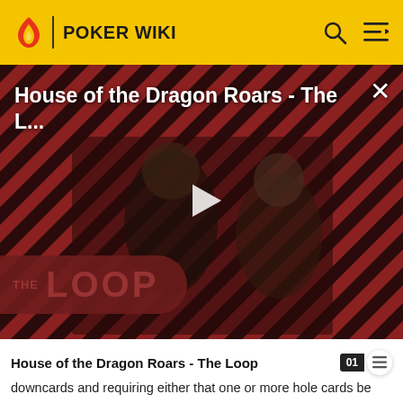POKER WIKI
[Figure (screenshot): Video thumbnail for 'House of the Dragon Roars - The L...' showing two characters from the show against a red and black diagonal striped background. A white play button triangle is centered. 'THE LOOP' text is overlaid in the lower left. A close (X) button is in the upper right.]
House of the Dragon Roars - The Loop
downcards and requiring either that one or more hole cards be discarded at some point in the game or adding a restriction on how many of those hole cards may be played in the final hand. For example, five-card stud can